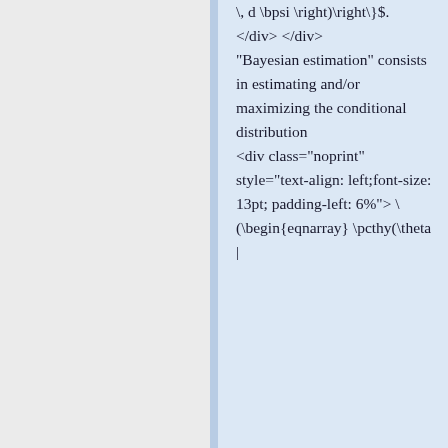\, d \bpsi \right)\right\}$. </div> </div> "Bayesian estimation" consists in estimating and/or maximizing the conditional distribution <div class="noprint" style="text-align: left;font-size: 13pt; padding-left: 6%"> \ (\begin{eqnarray} \pcthy(\theta |